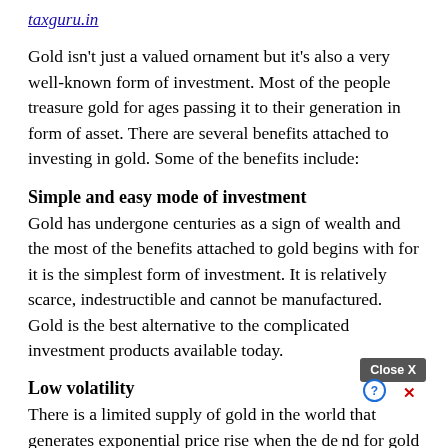taxguru.in
Gold isn't just a valued ornament but it's also a very well-known form of investment. Most of the people treasure gold for ages passing it to their generation in form of asset. There are several benefits attached to investing in gold. Some of the benefits include:
Simple and easy mode of investment
Gold has undergone centuries as a sign of wealth and the most of the benefits attached to gold begins with for it is the simplest form of investment. It is relatively scarce, indestructible and cannot be manufactured. Gold is the best alternative to the complicated investment products available today.
Low volatility
There is a limited supply of gold in the world that generates exponential price rise when the demand for gold increases. The gold production cannot rise simply for meeting the increased demand, hence the